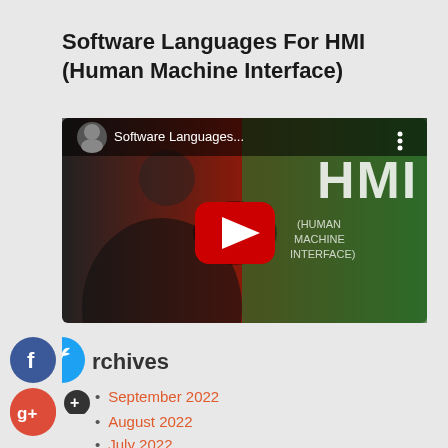Software Languages For HMI (Human Machine Interface)
[Figure (screenshot): YouTube video thumbnail showing a man and HMI text overlay, with YouTube play button in center. Title reads 'Software Languages...']
[Figure (illustration): Facebook social share icon (blue circle with white 'f')]
[Figure (illustration): Google+ social share icon (red circle with white 'g+')]
Archives
September 2022
August 2022
July 2022
June 2022